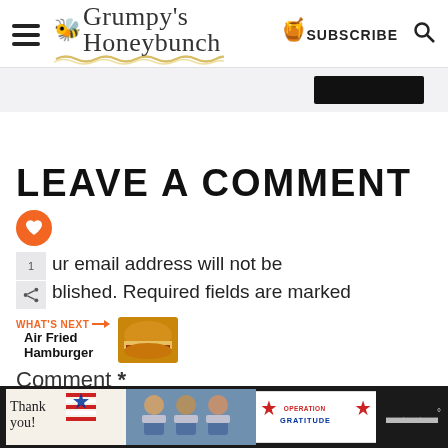Grumpy's Honeybunch — SUBSCRIBE
[Figure (screenshot): Gray band with a dark/black rectangle on the right side, appearing as a UI element or collapsed widget]
LEAVE A COMMENT
Your email address will not be published. Required fields are marked
[Figure (infographic): What's Next promo bar: 'Air Fried Hamburger' with a food thumbnail photo]
Comment *
[Figure (photo): Bottom advertisement bar: 'Thank you!' with Operation Gratitude ad featuring people in masks holding boxes]